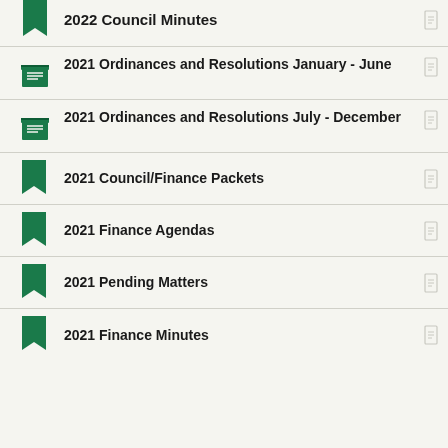2022 Council Minutes
2021 Ordinances and Resolutions January - June
2021 Ordinances and Resolutions July - December
2021 Council/Finance Packets
2021 Finance Agendas
2021 Pending Matters
2021 Finance Minutes